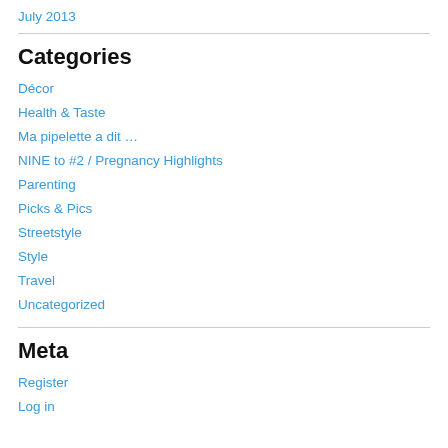July 2013
Categories
Décor
Health & Taste
Ma pipelette a dit …
NINE to #2 / Pregnancy Highlights
Parenting
Picks & Pics
Streetstyle
Style
Travel
Uncategorized
Meta
Register
Log in